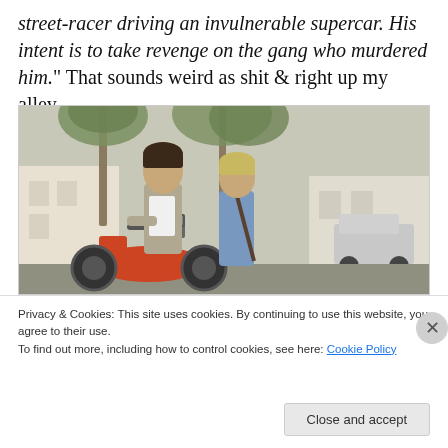street-racer driving an invulnerable supercar. His intent is to take revenge on the gang who murdered him." That sounds weird as shit & right up my alley.
[Figure (photo): A young man sitting on a motorcycle/moped with a young woman standing beside him, outdoors with palm trees and a building in the background. Appears to be a film still.]
Privacy & Cookies: This site uses cookies. By continuing to use this website, you agree to their use.
To find out more, including how to control cookies, see here: Cookie Policy
Close and accept